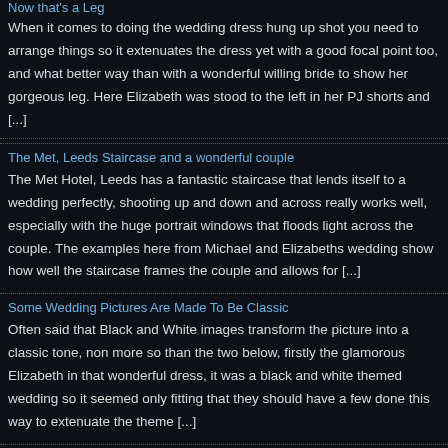Now that's a Leg
When it comes to doing the wedding dress hung up shot you need to arrange things so it extenuates the dress yet with a good focal point too, and what better way than with a wonderful willing bride to show her gorgeous leg. Here Elizabeth was stood to the left in her PJ shorts and [...]
The Met, Leeds Staircase and a wonderful couple
The Met Hotel, Leeds has a fantastic staircase that lends itself to a wedding perfectly, shooting up and down and across really works well, especially with the huge portrait windows that floods light across the couple. The examples here from Michael and Elizabeths wedding show how well the staircase frames the couple and allows for [...]
Some Wedding Pictures Are Made To Be Classic
Often said that Black and White images transform the picture into a classic tone, non more so than the two below, firstly the glamorous Elizabeth in that wonderful dress, it was a black and white themed wedding so it seemed only fitting that they should have a few done this way to extenuate the theme [...]
Somewhere In Time – Exhibition Updates
I was honoured this week to give a